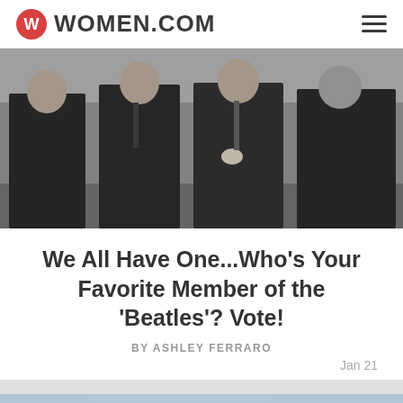WOMEN.COM
[Figure (photo): Black and white photograph of four men (The Beatles) wearing dark coats, standing together]
We All Have One...Who's Your Favorite Member of the 'Beatles'? Vote!
BY ASHLEY FERRARO
Jan 21
[Figure (photo): Color photo showing the top of a person's head with brown hair, partially cropped]